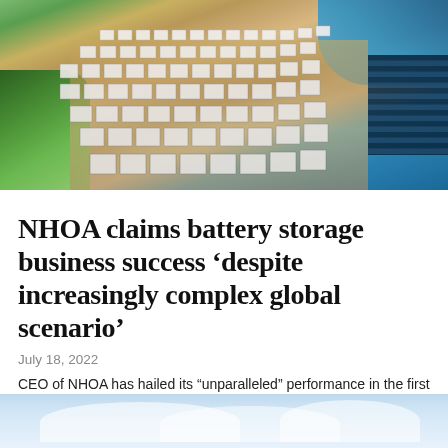[Figure (photo): Aerial view of a large battery energy storage facility with rows of white storage units arranged on sandy ground, with green vegetation on the left, blue water/ocean in the upper right, and solar panels visible on the right side.]
NHOA claims battery storage business success ‘despite increasingly complex global scenario’
July 18, 2022
CEO of NHOA has hailed its “unparalleled” performance in the first half of this year, despite industry headwinds.
[Figure (photo): Partial view of another image at the bottom of the page, showing sky with clouds.]